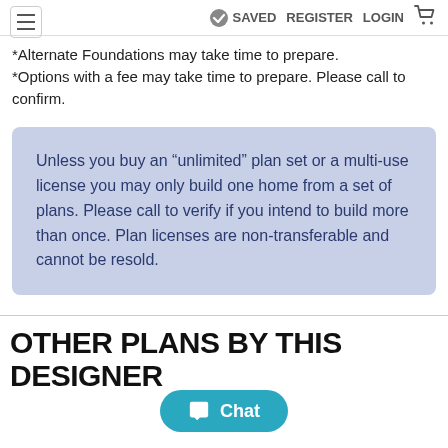SAVED  REGISTER  LOGIN
*Alternate Foundations may take time to prepare.
*Options with a fee may take time to prepare. Please call to confirm.
Unless you buy an “unlimited” plan set or a multi-use license you may only build one home from a set of plans. Please call to verify if you intend to build more than once. Plan licenses are non-transferable and cannot be resold.
OTHER PLANS BY THIS DESIGNER
Chat